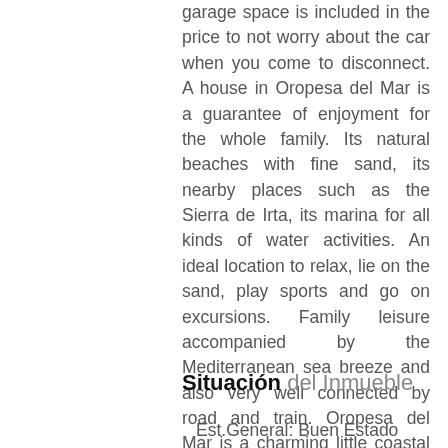garage space is included in the price to not worry about the car when you come to disconnect. A house in Oropesa del Mar is a guarantee of enjoyment for the whole family. Its natural beaches with fine sand, its nearby places such as the Sierra de Irta, its marina for all kinds of water activities. An ideal location to relax, lie on the sand, play sports and go on excursions. Family leisure accompanied by the Mediterranean sea breeze and also very well connected by road and train. Oropesa del Mar is a charming little coastal town with all the services you may need in your daily life such as pharmacy, supermarket, hairdresser, restaurants, dry cleaning ... 22 km from the capital with a very close airport so it can be your perfect getaway At any time of year.
Situación del Inmueble
Est.General: Buen Estado